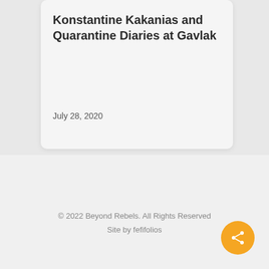Konstantine Kakanias and Quarantine Diaries at Gavlak
July 28, 2020
© 2022 Beyond Rebels. All Rights Reserved
Site by fefifolios